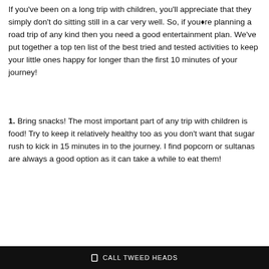If you've been on a long trip with children, you'll appreciate that they simply don't do sitting still in a car very well. So, if you�re planning a road trip of any kind then you need a good entertainment plan. We've put together a top ten list of the best tried and tested activities to keep your little ones happy for longer than the first 10 minutes of your journey!
1. Bring snacks! The most important part of any trip with children is food! Try to keep it relatively healthy too as you don't want that sugar rush to kick in 15 minutes in to the journey. I find popcorn or sultanas are always a good option as it can take a while to eat them!
CALL TWEED HEADS